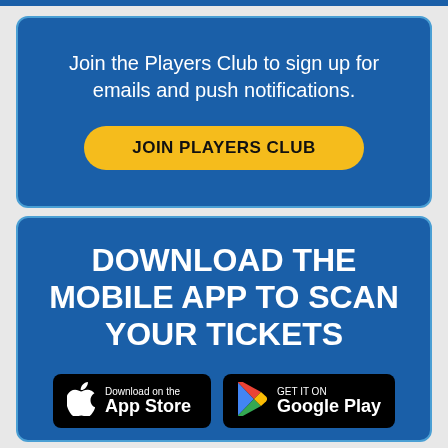Join the Players Club to sign up for emails and push notifications.
[Figure (other): Yellow rounded button with text JOIN PLAYERS CLUB]
DOWNLOAD THE MOBILE APP TO SCAN YOUR TICKETS
[Figure (other): App Store and Google Play download badges side by side on black rounded rectangles]